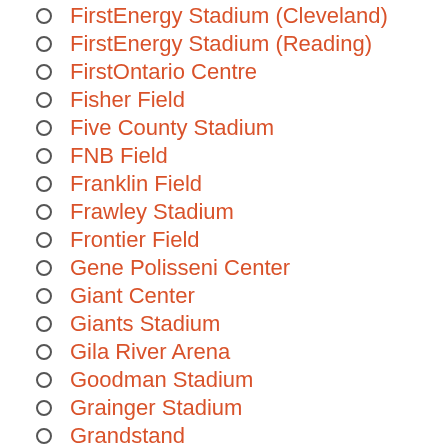FirstEnergy Stadium (Cleveland)
FirstEnergy Stadium (Reading)
FirstOntario Centre
Fisher Field
Five County Stadium
FNB Field
Franklin Field
Frawley Stadium
Frontier Field
Gene Polisseni Center
Giant Center
Giants Stadium
Gila River Arena
Goodman Stadium
Grainger Stadium
Grandstand